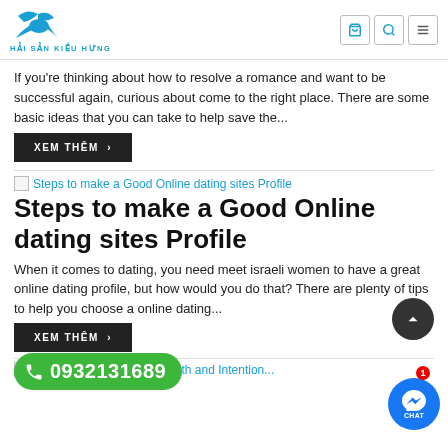HẢI SẢN KIỀU HƯNG
If you're thinking about how to resolve a romance and want to be successful again, curious about come to the right place. There are some basic ideas that you can take to help save the...
XEM THÊM >
[Figure (screenshot): Broken image thumbnail link labeled 'Steps to make a Good Online dating sites Profile']
Steps to make a Good Online dating sites Profile
When it comes to dating, you need meet israeli women to have a great online dating profile, but how would you do that? There are plenty of tips to help you choose a online dating...
XEM THÊM >
[Figure (screenshot): Broken image thumbnail link at bottom of page (partially visible)]